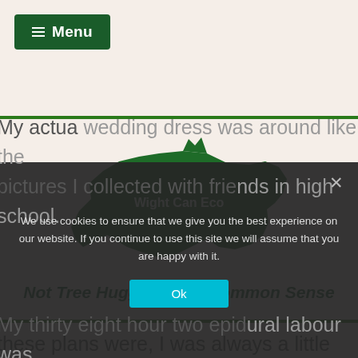Menu
[Figure (logo): Green silhouette shape of the Isle of Wight with text 'Wight Can Eco' written in white inside]
Not Tree Hugging Just Common Sense
these plans were, I was always a little surprised with where I ended up.
My actual wedding dress was around like the pictures I collected with friends in high school.
My thirty eight hour two epidural labour was
We use cookies to ensure that we give you the best experience on our website. If you continue to use this site we will assume that you are happy with it. Ok